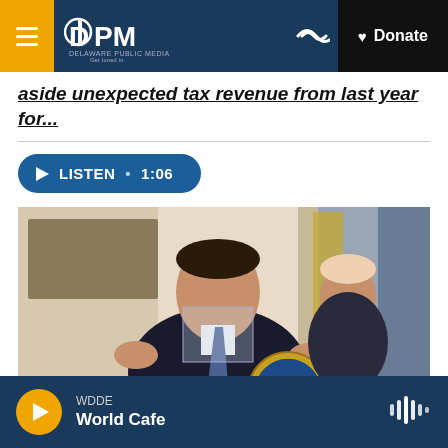DPM Delaware Public Media | Donate
aside unexpected tax revenue from last year for...
LISTEN • 1:06
[Figure (photo): A man in a dark suit speaking at a podium with the Seal of the State of Delaware, with another man visible behind him and an American flag in the background.]
Politics & Government
WDDE World Cafe